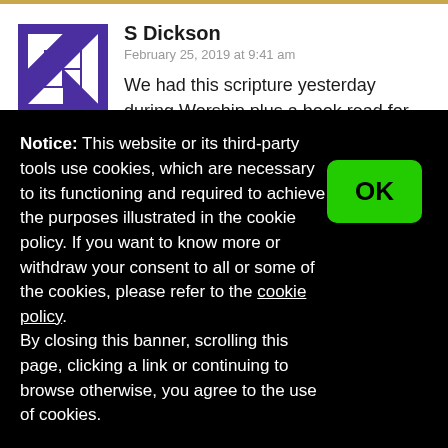S Dickson
February 25, 2019 at 9:41 am
We had this scripture yesterday during Worship plus a book read for the children. This piece makes it even more meaningful for me as I am struggling with a broken roof right now.
Reply
Notice: This website or its third-party tools use cookies, which are necessary to its functioning and required to achieve the purposes illustrated in the cookie policy. If you want to know more or withdraw your consent to all or some of the cookies, please refer to the cookie policy.
By closing this banner, scrolling this page, clicking a link or continuing to browse otherwise, you agree to the use of cookies.
OK